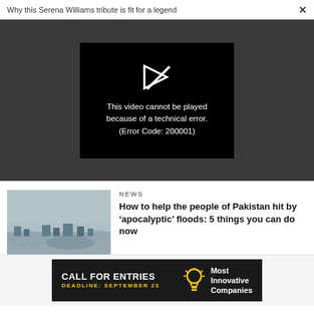Why this Serena Williams tribute is fit for a legend  ×
[Figure (screenshot): Video player showing error: This video cannot be played because of a technical error. (Error Code: 200001)]
NEWS
How to help the people of Pakistan hit by 'apocalyptic' floods: 5 things you can do now
[Figure (photo): Aerial photo of Pakistan flood damage showing submerged buildings and settlements]
[Figure (infographic): Advertisement banner: CALL FOR ENTRIES DEADLINE: SEPTEMBER 23 — Most Innovative Companies (light bulb icon)]